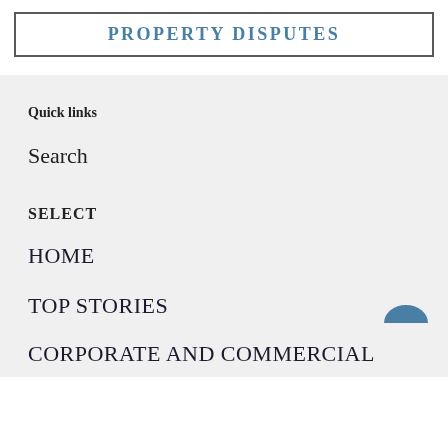PROPERTY DISPUTES
Quick links
Search
SELECT
HOME
TOP STORIES
CORPORATE AND COMMERCIAL